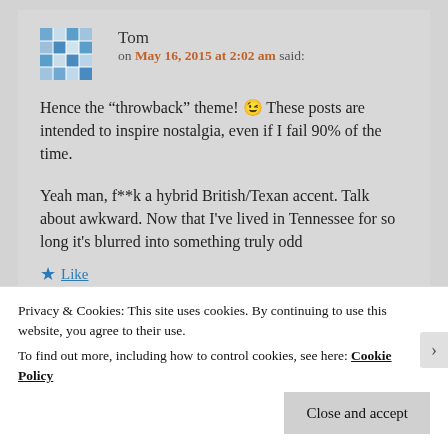Tom on May 16, 2015 at 2:02 am said:
Hence the “throwback” theme! 😉 These posts are intended to inspire nostalgia, even if I fail 90% of the time.

Yeah man, f**k a hybrid British/Texan accent. Talk about awkward. Now that I've lived in Tennessee for so long it's blurred into something truly odd
Privacy & Cookies: This site uses cookies. By continuing to use this website, you agree to their use.
To find out more, including how to control cookies, see here: Cookie Policy
Close and accept